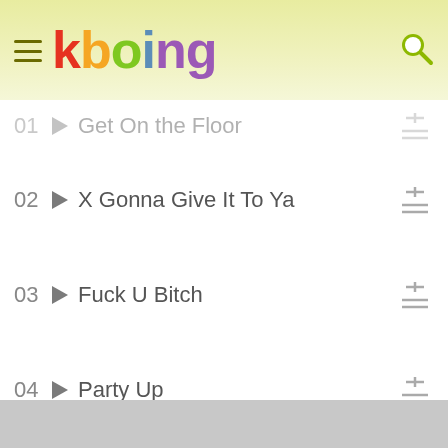kboing - music app header with logo and navigation
01 Get On the Floor
02 X Gonna Give It To Ya
03 Fuck U Bitch
04 Party Up
05 Baby Motha
06 Give 'Em What They Want
07 Goodbye